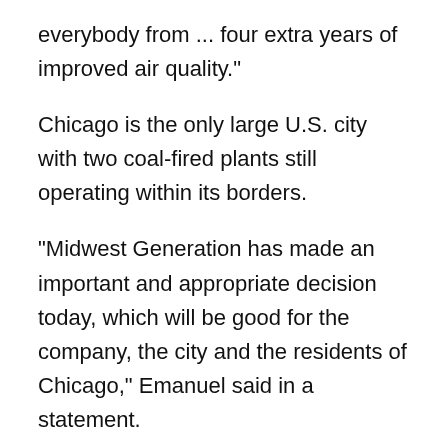everybody from ... four extra years of improved air quality."
Chicago is the only large U.S. city with two coal-fired plants still operating within its borders.
"Midwest Generation has made an important and appropriate decision today, which will be good for the company, the city and the residents of Chicago," Emanuel said in a statement.
Pedro Pizarro, president of Edison Mission Group, Midwest Generation's parent company, said market conditions weren't favorable enough to invest in expensive pollution upgrades at the aging plants, both of which were built in the early 1900s.